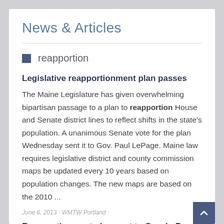News & Articles
reapportion
Legislative reapportionment plan passes
The Maine Legislature has given overwhelming bipartisan passage to a plan to reapportion House and Senate district lines to reflect shifts in the state's population. A unanimous Senate vote for the plan Wednesday sent it to Gov. Paul LePage. Maine law requires legislative district and county commission maps be updated every 10 years based on population changes. The new maps are based on the 2010 ...
June 6, 2013 · WMTW Portland
Reapportionment plan sent to Gov. LePage